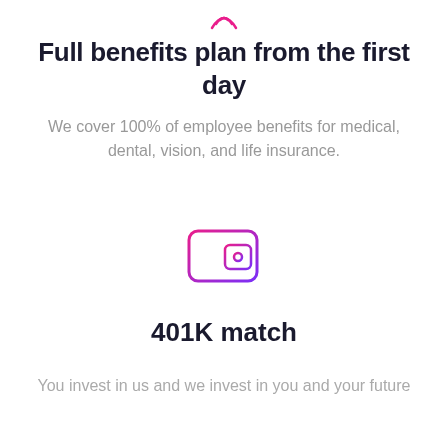[Figure (illustration): Small decorative icon at top center, pink/magenta curved lines forming a stylized emblem]
Full benefits plan from the first day
We cover 100% of employee benefits for medical, dental, vision, and life insurance.
[Figure (illustration): Wallet icon with gradient pink to purple outline, containing a card slot and dot]
401K match
You invest in us and we invest in you and your future